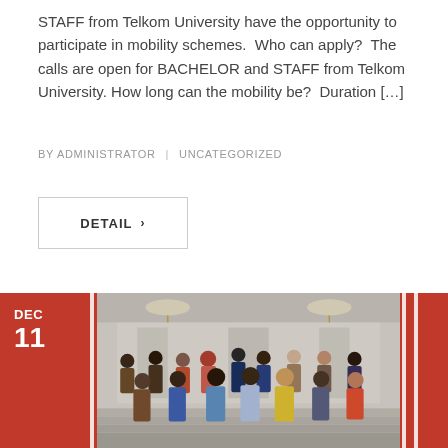STAFF from Telkom University have the opportunity to participate in mobility schemes. Who can apply? The calls are open for BACHELOR and STAFF from Telkom University. How long can the mobility be? Duration […]
BY ADMINISTRATOR | UNCATEGORIZED
DETAIL >
[Figure (photo): Group photo of approximately 15 people in formal and batik attire standing on steps of a building with chandeliers. Date badge shows DEC 11 on a red background panel on the left side.]